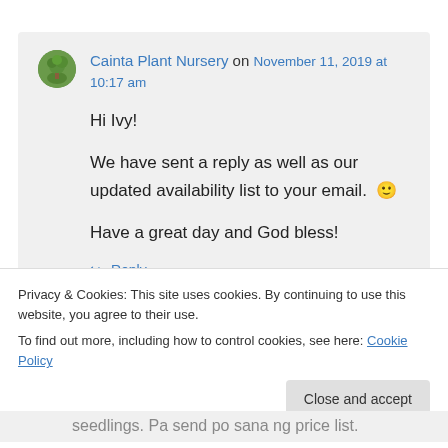Cainta Plant Nursery on November 11, 2019 at 10:17 am
Hi Ivy!

We have sent a reply as well as our updated availability list to your email. 🙂

Have a great day and God bless!
↪ Reply
Privacy & Cookies: This site uses cookies. By continuing to use this website, you agree to their use.
To find out more, including how to control cookies, see here: Cookie Policy
Close and accept
seedlings. Pa send po sana ng price list.